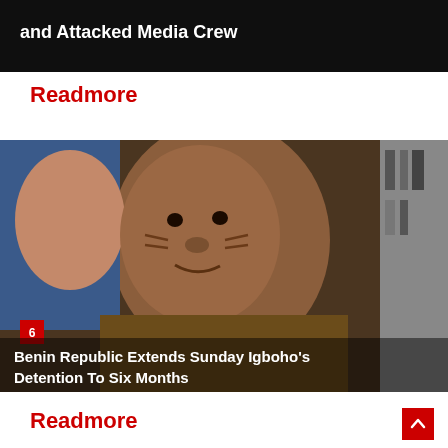[Figure (photo): Partial dark photo with white overlay text reading 'and Attacked Media Crew']
Readmore
[Figure (photo): Close-up portrait of Sunday Igboho, a man in a brown top with facial tribal marks, in front of a painted portrait background. Red badge with number 6 in lower left. Headline overlay: 'Benin Republic Extends Sunday Igboho's Detention To Six Months']
Readmore